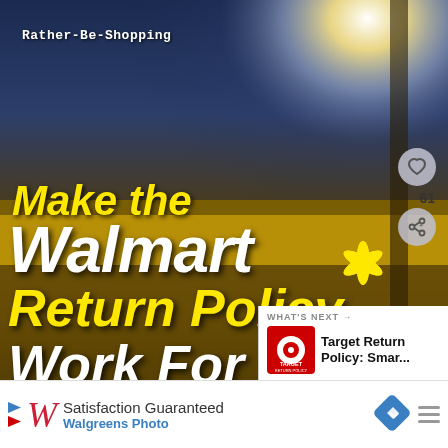[Figure (photo): Walmart storefront exterior at night/dusk with bright sky glow in upper right, showing the yellow and white large text overlay 'Make the Walmart Return Policy... Work For You!' with the Walmart spark logo, and a watermark 'Rather-Be-Shopping' in top left corner]
Rather-Be-Shopping
Make the Walmart Return Policy... Work For You!
61
WHAT'S NEXT → Target Return Policy: Smar...
Satisfaction Guaranteed
Walgreens Photo